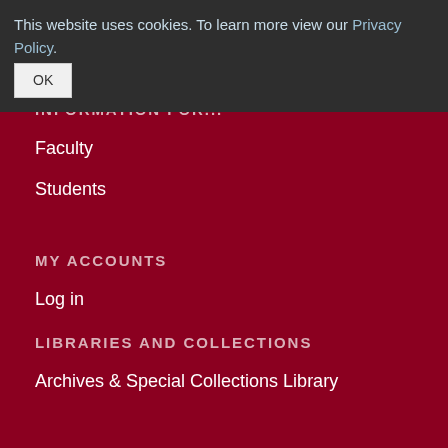This website uses cookies. To learn more view our Privacy Policy.
Open Access
INFORMATION FOR...
Faculty
Students
MY ACCOUNTS
Log in
LIBRARIES AND COLLECTIONS
Archives & Special Collections Library